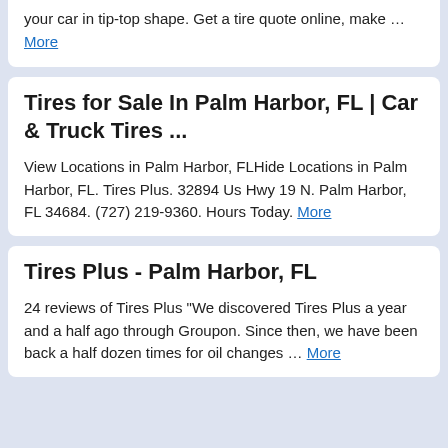your car in tip-top shape. Get a tire quote online, make … More
Tires for Sale In Palm Harbor, FL | Car & Truck Tires ...
View Locations in Palm Harbor, FLHide Locations in Palm Harbor, FL. Tires Plus. 32894 Us Hwy 19 N. Palm Harbor, FL 34684. (727) 219-9360. Hours Today. More
Tires Plus - Palm Harbor, FL
24 reviews of Tires Plus "We discovered Tires Plus a year and a half ago through Groupon. Since then, we have been back a half dozen times for oil changes … More